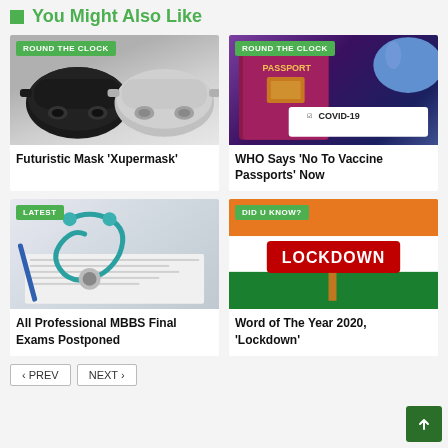You Might Also Like
[Figure (photo): Two futuristic face masks, one black and one grey, displayed side by side with a 'ROUND THE CLOCK' badge.]
[Figure (photo): A passport book and a card labeled 'COVID-19' with a 'ROUND THE CLOCK' badge.]
Futuristic Mask 'Xupermask'
WHO Says 'No To Vaccine Passports' Now
[Figure (photo): A stethoscope resting on medical documents with a 'LATEST' badge.]
[Figure (photo): A red LOCKDOWN sign against an Indian flag background with a 'DID U KNOW?' badge.]
All Professional MBBS Final Exams Postponed
Word of The Year 2020, 'Lockdown'
< PREV
NEXT >